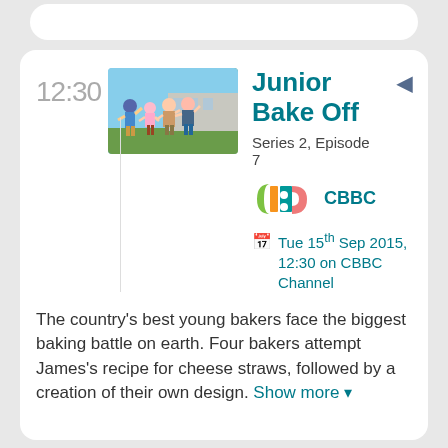12:30
[Figure (photo): Group of children outdoors with arms raised, blue sky background]
Junior Bake Off
Series 2, Episode 7
[Figure (logo): CBBC channel logo]
CBBC
Tue 15th Sep 2015, 12:30 on CBBC Channel
The country's best young bakers face the biggest baking battle on earth. Four bakers attempt James's recipe for cheese straws, followed by a creation of their own design. Show more ▾